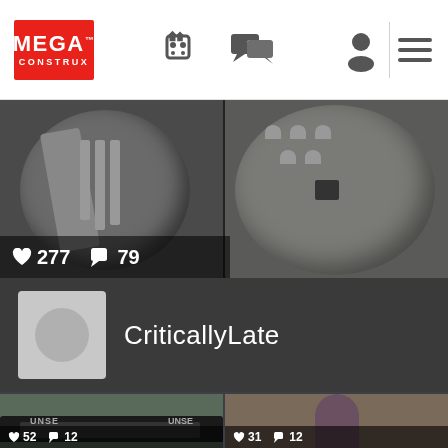[Figure (screenshot): Mega Construx app navigation bar with logo, icons for browse, chat, profile, and hamburger menu]
[Figure (photo): Two close-up photos of Mega Construx building set pieces, gray circular piece with studs and mechanical parts. Heart icon with 277 likes and chat icon with 79 comments shown below.]
CriticallyLate
[Figure (photo): Left: Halo UNSC vehicle model on teal surface with blue Spartan figure. Right: Covenant alien/brute figure in purple-brown armor. Bottom stats partially visible: 52 likes, 12 comments (left); 31 likes, 12 comments (right).]